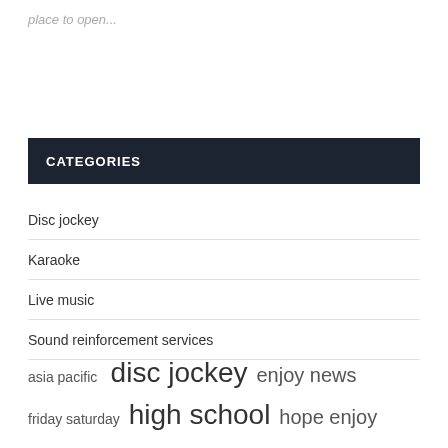place to open...
CATEGORIES
Disc jockey
Karaoke
Live music
Sound reinforcement services
asia pacific  disc jockey  enjoy news  friday saturday  high school  hope enjoy